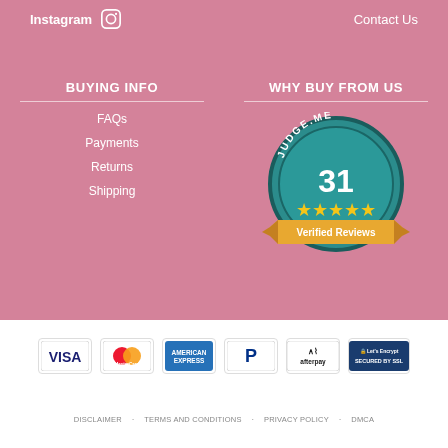Instagram   Contact Us
BUYING INFO
FAQs
Payments
Returns
Shipping
WHY BUY FROM US
[Figure (infographic): Judge.me badge showing 31 Verified Reviews with 5 gold stars on a teal circular badge with a gold ribbon banner]
[Figure (infographic): Payment method icons: VISA, MasterCard, American Express, PayPal, Afterpay, Let's Encrypt Secured by SSL]
DISCLAIMER   TERMS AND CONDITIONS   PRIVACY POLICY   DMCA